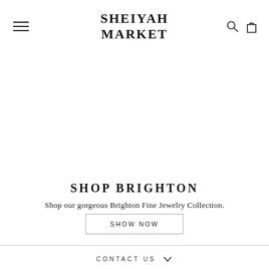SHEIYAH MARKET
SHOP BRIGHTON
Shop our gorgeous Brighton Fine Jewelry Collection.
SHOW NOW
CONTACT US